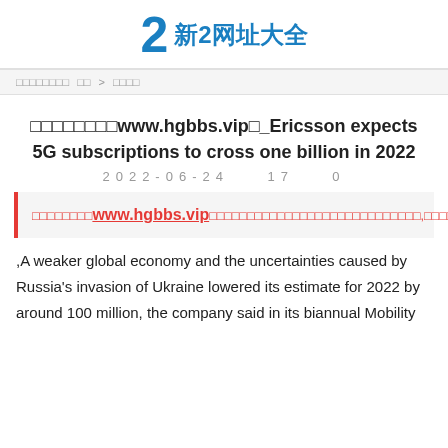2 新2网址大全
□□□□□□□□  □□  >  □□□□
□□□□□□□□www.hgbbs.vip□_Ericsson expects 5G subscriptions to cross one billion in 2022
2022-06-24    17    0
□□□□□□□□www.hgbbs.vip□□□□□□□□□□□□□□□□□□□□□□□□□□□,□□□□□□,□□□□□□,□□□□□□,□□□□□□,□□□□□□□□□□
,A weaker global economy and the uncertainties caused by Russia's invasion of Ukraine lowered its estimate for 2022 by around 100 million, the company said in its biannual Mobility